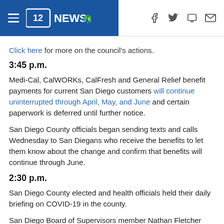12NEWS (NBC logo) — navigation header with hamburger menu and social icons
Click here for more on the council's actions.
3:45 p.m.
Medi-Cal, CalWORKs, CalFresh and General Relief benefit payments for current San Diego customers will continue uninterrupted through April, May, and June and certain paperwork is deferred until further notice.
San Diego County officials began sending texts and calls Wednesday to San Diegans who receive the benefits to let them know about the change and confirm that benefits will continue through June.
2:30 p.m.
San Diego County elected and health officials held their daily briefing on COVID-19 in the county.
San Diego Board of Supervisors member Nathan Fletcher